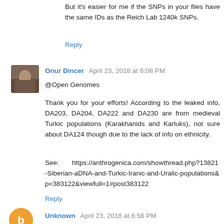But it's easier for me if the SNPs in your files have the same IDs as the Reich Lab 1240k SNPs.
Reply
Onur Dincer  April 23, 2018 at 6:08 PM
@Open Genomes
Thank you for your efforts! According to the leaked info, DA203, DA204, DA222 and DA230 are from medieval Turkic populations (Karakhanids and Karluks), not sure about DA124 though due to the lack of info on ethnicity.
See:       https://anthrogenica.com/showthread.php?13821-Siberian-aDNA-and-Turkic-Iranic-and-Uralic-populations&p=383122&viewfull=1#post383122
Reply
[Figure (photo): Avatar image for Onur Dincer comment — small square photo]
Unknown  April 23, 2018 at 6:56 PM
[Figure (illustration): Circular orange avatar with letter 'b' for Unknown commenter]
@ Open Genomes